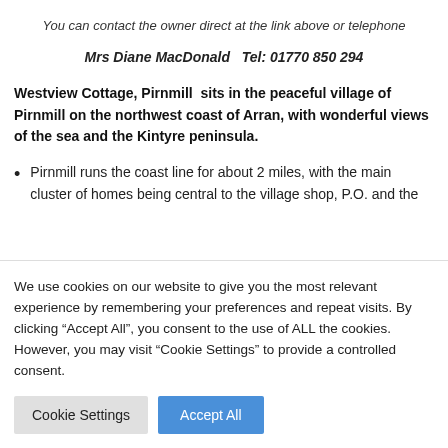You can contact the owner direct at the link above or telephone
Mrs Diane MacDonald   Tel: 01770 850 294
Westview Cottage, Pirnmill  sits in the peaceful village of Pirnmill on the northwest coast of Arran, with wonderful views of the sea and the Kintyre peninsula.
Pirnmill runs the coast line for about 2 miles, with the main cluster of homes being central to the village shop, P.O. and the
We use cookies on our website to give you the most relevant experience by remembering your preferences and repeat visits. By clicking “Accept All”, you consent to the use of ALL the cookies. However, you may visit "Cookie Settings" to provide a controlled consent.